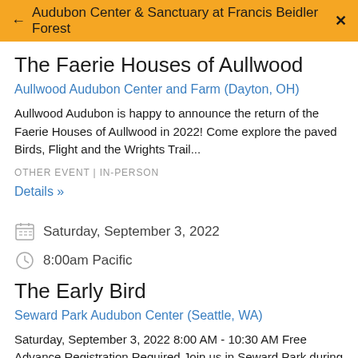← Audubon Center & Sanctuary at Francis Beidler Forest ✕
The Faerie Houses of Aullwood
Aullwood Audubon Center and Farm (Dayton, OH)
Aullwood Audubon is happy to announce the return of the Faerie Houses of Aullwood in 2022! Come explore the paved Birds, Flight and the Wrights Trail...
OTHER EVENT | IN-PERSON
Details »
Saturday, September 3, 2022
8:00am Pacific
The Early Bird
Seward Park Audubon Center (Seattle, WA)
Saturday, September 3, 2022 8:00 AM - 10:30 AM Free Advance Registration Required Join us in Seward Park during a point...